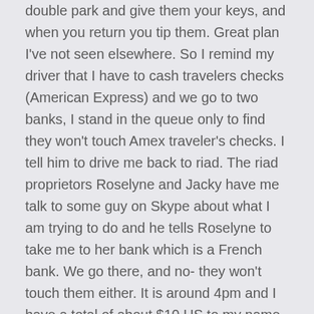double park and give them your keys, and when you return you tip them. Great plan I've not seen elsewhere. So I remind my driver that I have to cash travelers checks (American Express) and we go to two banks, I stand in the queue only to find they won't touch Amex traveler's checks. I tell him to drive me back to riad. The riad proprietors Roselyne and Jacky have me talk to some guy on Skype about what I am trying to do and he tells Roselyne to take me to her bank which is a French bank. We go there, and no- they won't touch them either. It is around 4pm and I have a total of about $10 US to my name for the next few days, including dinners. I still owe Jamila for my embroidered linen jellaba and matching brown linen pants of $1300 dirham (divide by 8 for us dollars) , plus paying for water and transport to and from airport at riad, and the bank trip, and I'd like to give Jamila something for all the coordination and effort she made on my behalf, but no cash.
So back to the riad, up on the terrace to write and my new